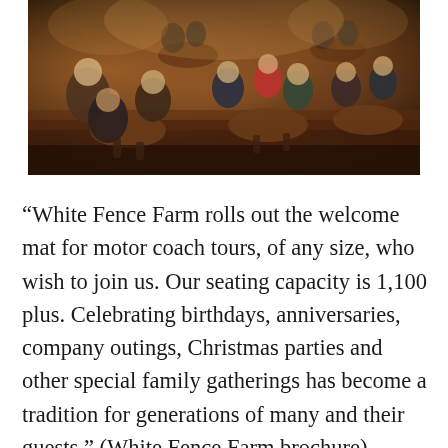[Figure (photo): Interior of a busy restaurant dining room with families seated at round wooden tables, warm amber lighting, patterned carpet visible on the floor, taken from slightly above eye level showing multiple tables and diners.]
“White Fence Farm rolls out the welcome mat for motor coach tours, of any size, who wish to join us. Our seating capacity is 1,100 plus. Celebrating birthdays, anniversaries, company outings, Christmas parties and other special family gatherings has become a tradition for generations of many and their guests.” (White Fence Farm brochure)